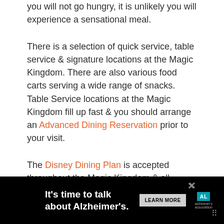you will not go hungry, it is unlikely you will experience a sensational meal.
There is a selection of quick service, table service & signature locations at the Magic Kingdom. There are also various food carts serving a wide range of snacks. Table Service locations at the Magic Kingdom fill up fast & you should arrange an Advanced Dining Reservation prior to your visit.
The Disney Dining Plan is accepted throughout the Magic Kingdom & all venues cater for allergies.
To learn more about Dining at Disney World visit our guide.
[Figure (infographic): Advertisement banner for Alzheimer's awareness: black background, white bold text 'It’s time to talk about Alzheimer’s.', a 'LEARN MORE' button, Alzheimer's Association logo, and close/dismiss icons.]